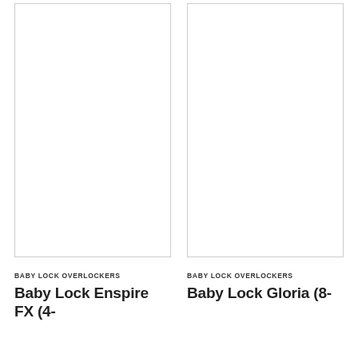[Figure (photo): Product image placeholder for Baby Lock Enspire FX (4- overlocking machine, white background, bordered box]
[Figure (photo): Product image placeholder for Baby Lock Gloria (8- overlocking machine, white background, bordered box]
BABY LOCK OVERLOCKERS
Baby Lock Enspire FX (4-
BABY LOCK OVERLOCKERS
Baby Lock Gloria (8-